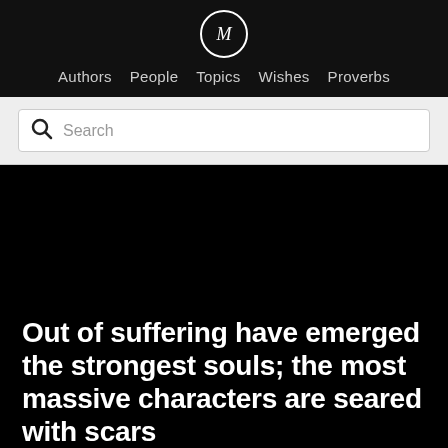Authors  People  Topics  Wishes  Proverbs
Search
[Figure (illustration): Black background image with large bold white text displaying a quote: 'Out of suffering have emerged the strongest souls; the most massive characters are seared with scars']
Out of suffering have emerged the strongest souls; the most massive characters are seared with scars